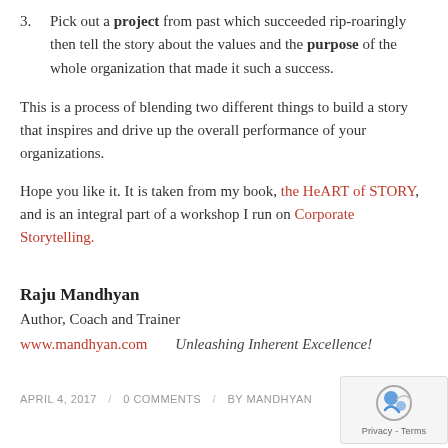3. Pick out a project from past which succeeded rip-roaringly then tell the story about the values and the purpose of the whole organization that made it such a success.
This is a process of blending two different things to build a story that inspires and drive up the overall performance of your organizations.
Hope you like it. It is taken from my book, the HeART of STORY, and is an integral part of a workshop I run on Corporate Storytelling.
Raju Mandhyan
Author, Coach and Trainer
www.mandhyan.com    Unleashing Inherent Excellence!
APRIL 4, 2017 / 0 COMMENTS / BY MANDHYAN